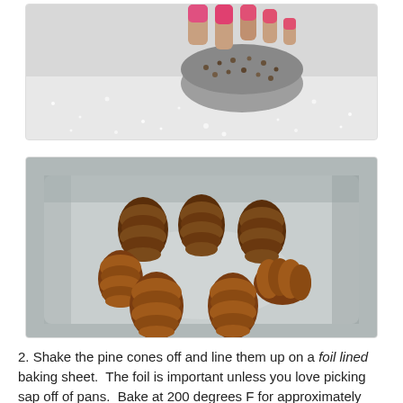[Figure (photo): A hand with pink nail polish pressing down on a rounded object (possibly a candle or craft item) covered in seeds or granules, on a white sparkly surface.]
[Figure (photo): Six pine cones arranged in a stainless steel sink basin, photographed from above.]
2. Shake the pine cones off and line them up on a foil lined baking sheet.  The foil is important unless you love picking sap off of pans.  Bake at 200 degrees F for approximately